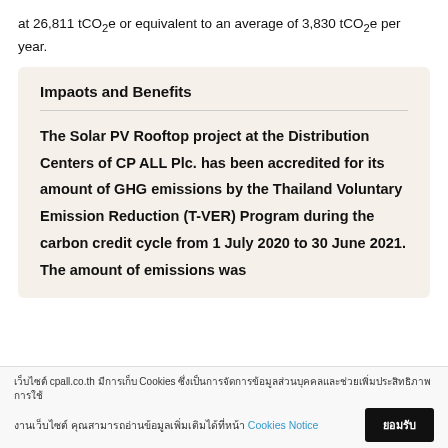at 26,811 tCO₂e or equivalent to an average of 3,830 tCO₂e per year.
Impaots and Benefits
The Solar PV Rooftop project at the Distribution Centers of CP ALL Plc. has been accredited for its amount of GHG emissions by the Thailand Voluntary Emission Reduction (T-VER) Program during the carbon credit cycle from 1 July 2020 to 30 June 2021. The amount of emissions was
เว็บไซต์ cpall.co.th มีการเก็บ Cookies ซึ่งเป็นการจัดการข้อมูลส่วนบุคคลและช่วยเพิ่มประสิทธิภาพการใช้งานเว็บไซต์ คุณสามารถอ่านข้อมูลเพิ่มเติมได้ที่หน้า Cookies Notice ยอมรับ